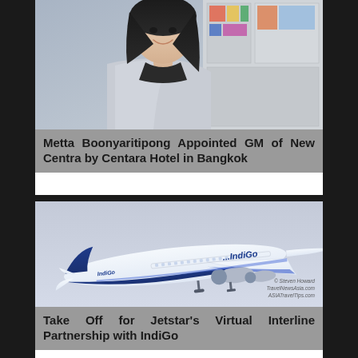[Figure (photo): Portrait photo of Metta Boonyaritipong, a woman with long dark hair wearing a light gray blazer, smiling. Background shows colorful art pieces.]
Metta Boonyaritipong Appointed GM of New Centra by Centara Hotel in Bangkok
[Figure (photo): Photo of an IndiGo airline aircraft in flight against a light blue-gray sky. The aircraft is white with blue livery and IndiGo branding. Watermark reads: © Steven Howard TravelNewsAsia.com ASIATravelTips.com]
Take Off for Jetstar's Virtual Interline Partnership with IndiGo